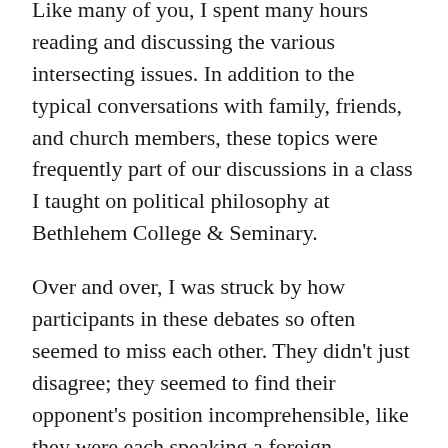Like many of you, I spent many hours reading and discussing the various intersecting issues. In addition to the typical conversations with family, friends, and church members, these topics were frequently part of our discussions in a class I taught on political philosophy at Bethlehem College & Seminary.
Over and over, I was struck by how participants in these debates so often seemed to miss each other. They didn't just disagree; they seemed to find their opponent's position incomprehensible, like they were each speaking a foreign language. The frustration was palpable. Beneath the animated discussions seemed to run this sentiment: “Why can't this person see what is so obvious to me?”